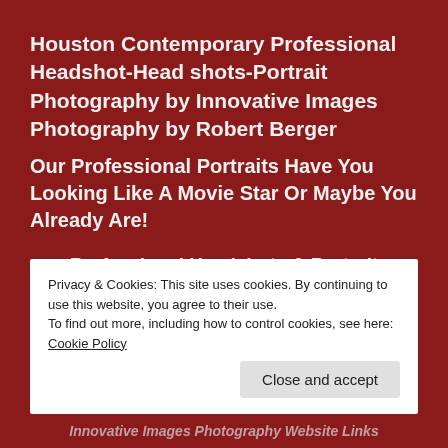Houston Contemporary Professional Headshot-Head shots-Portrait Photography by Innovative Images Photography by Robert Berger
Our Professional Portraits Have You Looking Like A Movie Star Or Maybe You Already Are!
Professional Headshots & Portraits- Movie Star Portraits in Houston
Professional business-executive publicity portraits and photography
Professional Executive Business Headshot
Privacy & Cookies: This site uses cookies. By continuing to use this website, you agree to their use.
To find out more, including how to control cookies, see here: Cookie Policy
Close and accept
Innovative Images Photography Website Links